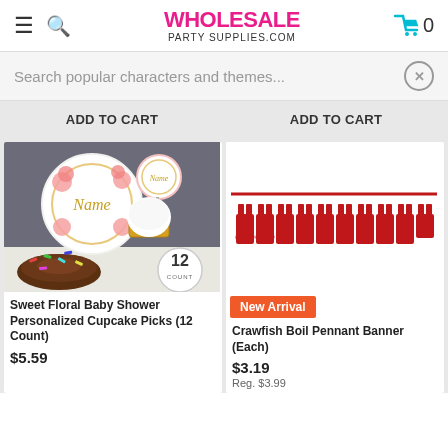WHOLESALE PARTY SUPPLIES.COM
Search popular characters and themes...
ADD TO CART | ADD TO CART
[Figure (photo): Sweet Floral Baby Shower Personalized Cupcake Picks (12 Count) product image showing cupcake picks with floral name tags and a chocolate donut with sprinkles, with a '12 Count' badge]
Sweet Floral Baby Shower Personalized Cupcake Picks (12 Count)
$5.59
[Figure (photo): Crawfish Boil Pennant Banner product image showing red crawfish decorative banner, with a New Arrival badge]
New Arrival
Crawfish Boil Pennant Banner (Each)
$3.19
Reg. $3.99